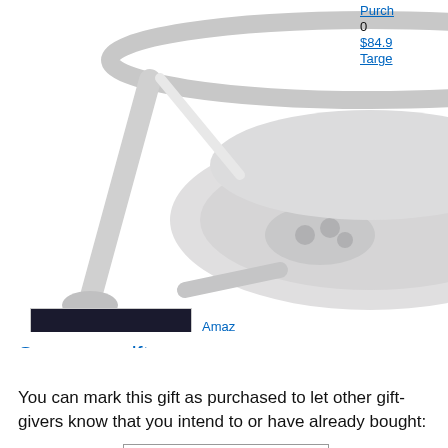[Figure (photo): Baby swing product photo - gray/white baby swing/rocker with control panel, shown against white background, partially cropped at top]
Purchased
0
$84.9
Target
[Figure (photo): Amazon Gift Card product thumbnail - dark background with electronics/devices displayed, showing $100.00 value]
Amazon Gift Card
Desired
Purchased
*
Gift C
See more gifts
You can mark this gift as purchased to let other gift-givers know that you intend to or have already bought:
Your name:
(Required):